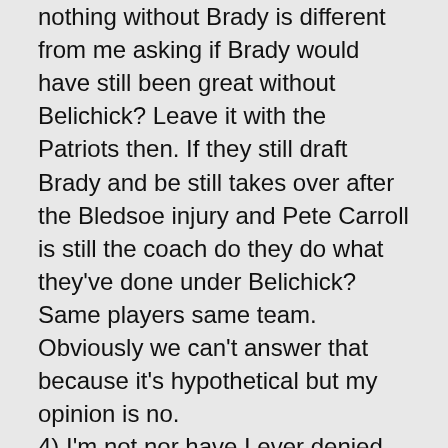nothing without Brady is different from me asking if Brady would have still been great without Belichick? Leave it with the Patriots then. If they still draft Brady and be still takes over after the Bledsoe injury and Pete Carroll is still the coach do they do what they've done under Belichick? Same players same team. Obviously we can't answer that because it's hypothetical but my opinion is no. 4) I'm not nor have I ever denied the luck factor in Brady. What exactly is a deflection argument? I thought what I said was pretty clear. Yes the next two sub-debates is...